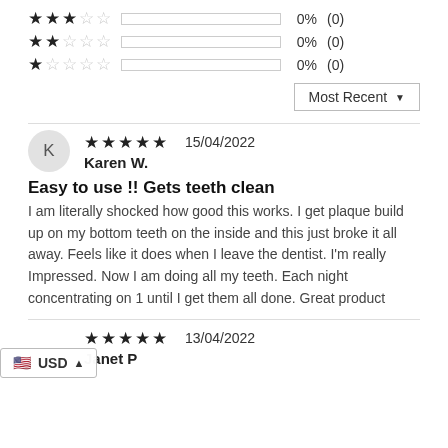3 stars: 0% (0)
2 stars: 0% (0)
1 star: 0% (0)
Most Recent ▼
K — Karen W. — 5 stars — 15/04/2022
Easy to use !! Gets teeth clean
I am literally shocked how good this works. I get plaque build up on my bottom teeth on the inside and this just broke it all away. Feels like it does when I leave the dentist. I'm really Impressed. Now I am doing all my teeth. Each night concentrating on 1 until I get them all done. Great product
Janet P — 5 stars — 13/04/2022
USD ▲